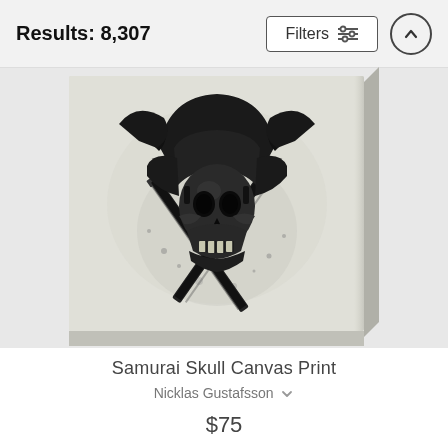Results: 8,307
Filters
[Figure (photo): A canvas print product shown in 3D perspective featuring a dark samurai skull illustration with crossed katanas on a light background]
Samurai Skull Canvas Print
Nicklas Gustafsson
$75